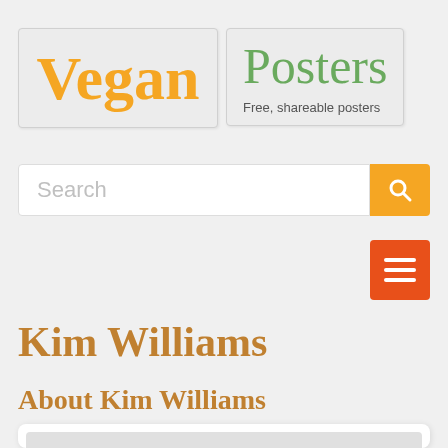[Figure (logo): Vegan Posters website logo with 'Vegan' in orange serif font in a grey box, and 'Posters' in green serif font in a separate grey box with tagline 'Free, shareable posters']
[Figure (screenshot): Search bar with placeholder text 'Search' and orange search button icon]
[Figure (screenshot): Orange hamburger menu button with three white horizontal lines]
Kim Williams
About Kim Williams
[Figure (screenshot): Partial grey content card at bottom of page]